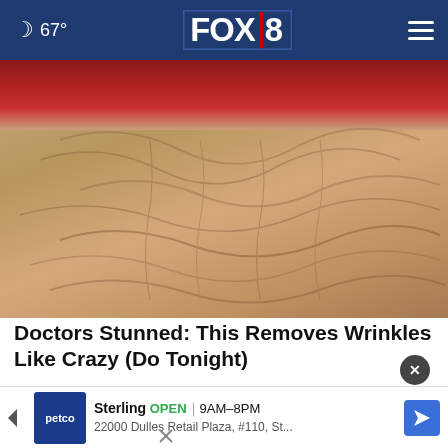67° FOX 8
[Figure (photo): Close-up of heavily wrinkled skin with reddish upper portion, texture resembling wrinkled elderly skin]
Doctors Stunned: This Removes Wrinkles Like Crazy (Do Tonight)
Rejuvalift
[Figure (photo): Partial view of a hand holding a device, bottom portion of page with advertisement overlay]
Sterling OPEN | 9AM–8PM 22000 Dulles Retail Plaza, #110, St...